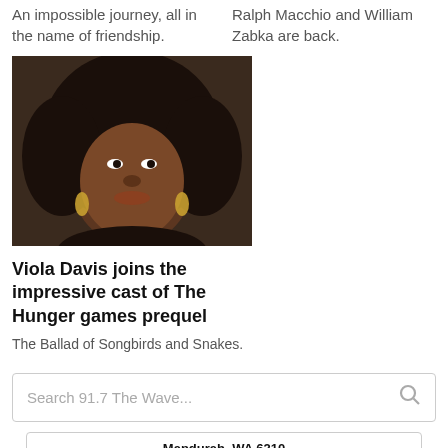An impossible journey, all in the name of friendship.
Ralph Macchio and William Zabka are back.
[Figure (photo): Portrait photo of Viola Davis with curly hair and gold earrings]
Viola Davis joins the impressive cast of The Hunger games prequel
The Ballad of Songbirds and Snakes.
Search 91.7 The Wave...
| Weather | Wind | Rain | Sun | UV |
| --- | --- | --- | --- | --- |